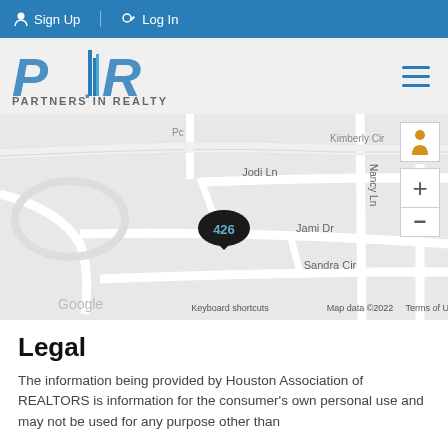Sign Up  Log In
[Figure (logo): Partners in Realty logo with stylized P|R letters and building graphic]
[Figure (map): Google map showing location 426 on Jami Dr near Jodi Ln, Sandra Cir, Nancy Ln with map controls]
Legal
The information being provided by Houston Association of REALTORS is information for the consumer's own personal use and may not be used for any purpose other than